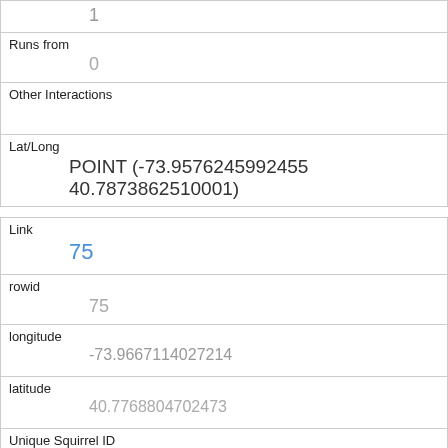|  | 1 |
| Runs from | 0 |
| Other Interactions |  |
| Lat/Long | POINT (-73.9576245992455 40.7873862510001) |
| Link | 75 |
| rowid | 75 |
| longitude | -73.9667114027214 |
| latitude | 40.7768804702473 |
| Unique Squirrel ID | 16G-PM-1017-01 |
| Hectare | 16G |
| Shift |  |